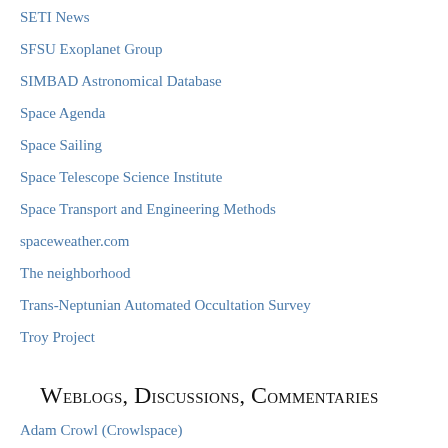SETI News
SFSU Exoplanet Group
SIMBAD Astronomical Database
Space Agenda
Space Sailing
Space Telescope Science Institute
Space Transport and Engineering Methods
spaceweather.com
The neighborhood
Trans-Neptunian Automated Occultation Survey
Troy Project
Weblogs, Discussions, Commentaries
Adam Crowl (Crowlspace)
Adrian Berry